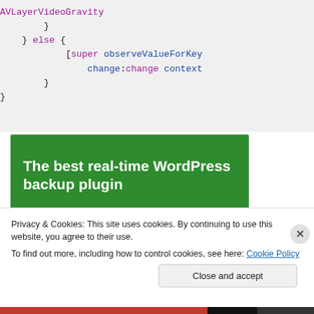} else {
    [super observeValueForKey
        change:change context
    }
}
[Figure (illustration): Green advertisement banner with bold white text: 'The best real-time WordPress backup plugin']
Privacy & Cookies: This site uses cookies. By continuing to use this website, you agree to their use.
To find out more, including how to control cookies, see here: Cookie Policy
Close and accept